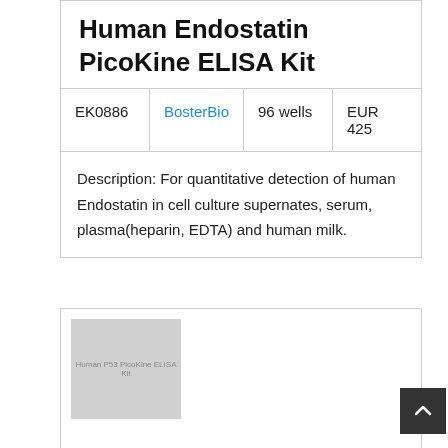Human Endostatin PicoKine ELISA Kit
| EK0886 | BosterBio | 96 wells | EUR 425 |
| --- | --- | --- | --- |
Description: For quantitative detection of human Endostatin in cell culture supernates, serum, plasma(heparin, EDTA) and human milk.
[Figure (photo): Product image placeholder for Human P53 PicoKine ELISA Kit with gray background and small text label]
Human P53 PicoKine